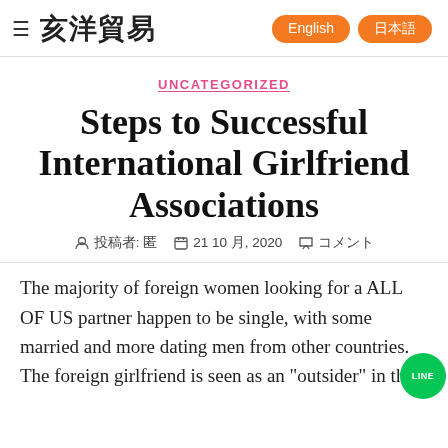≡ 亥洋貿易  English 日本語
UNCATEGORIZED
Steps to Successful International Girlfriend Associations
投稿者: 匿  21 10 月, 2020  コメント
The majority of foreign women looking for a ALL OF US partner happen to be single, with some married and more dating men from other countries. The foreign girlfriend is seen as an "outsider" in the